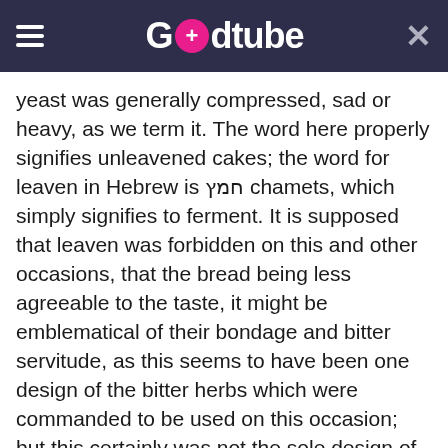Godtube
yeast was generally compressed, sad or heavy, as we term it. The word here properly signifies unleavened cakes; the word for leaven in Hebrew is חמץ chamets, which simply signifies to ferment. It is supposed that leaven was forbidden on this and other occasions, that the bread being less agreeable to the taste, it might be emblematical of their bondage and bitter servitude, as this seems to have been one design of the bitter herbs which were commanded to be used on this occasion; but this certainly was not the sole design of the prohibition: leaven itself is a species of corruption, being produced by fermentation, which in such cases tends to putrefaction. In this very light St. Paul considers the subject in this place; hence, alluding to the passover as a type of Christ, he says: Purge out therefore the old leaven - for Christ our passover is sacrificed for us: therefore let us keep the feast, not with old leaven, neither with the leaven of malice and wickedness, but with the